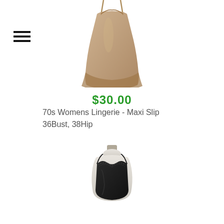[Figure (photo): Beige/tan maxi slip lingerie garment hanging or laid flat, vintage 70s style, full length view]
$30.00
70s Womens Lingerie - Maxi Slip
36Bust, 38Hip
[Figure (photo): Black camisole/slip lingerie on a white dress form mannequin, v-neck with lace trim, spaghetti straps]